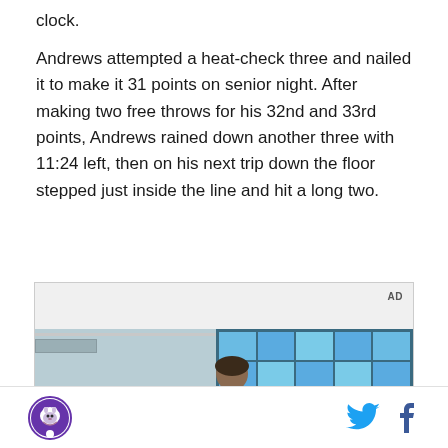clock.
Andrews attempted a heat-check three and nailed it to make it 31 points on senior night. After making two free throws for his 32nd and 33rd points, Andrews rained down another three with 11:24 left, then on his next trip down the floor stepped just inside the line and hit a long two.
[Figure (photo): Advertisement banner with a young man with curly hair standing in front of a blue window grid background in what appears to be a school or office hallway. 'AD' label in top right corner.]
Footer with circular logo on the left and Twitter and Facebook social media icons on the right.